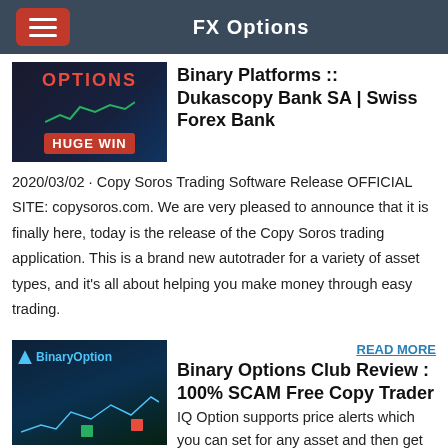FX Options
[Figure (screenshot): Thumbnail image with dark background showing 'OPTIONS' text in red and 'HUGE WIN' label on a red banner, with chart graphics]
Binary Platforms :: Dukascopy Bank SA | Swiss Forex Bank
2020/03/02 · Copy Soros Trading Software Release OFFICIAL SITE: copysoros.com. We are very pleased to announce that it is finally here, today is the release of the Copy Soros trading application. This is a brand new autotrader for a variety of asset types, and it's all about helping you make money through easy trading.
[Figure (screenshot): Thumbnail image showing 'BinaryOption' logo with blue financial chart graphics on dark background]
READ MORE
Binary Options Club Review : 100% SCAM Free Copy Trader
IQ Option supports price alerts which you can set for any asset and then get notified either via the platform's window or via a push notification to a mobile device – like phone or tablet. Tournaments*. Earlier, IQ Option organized a